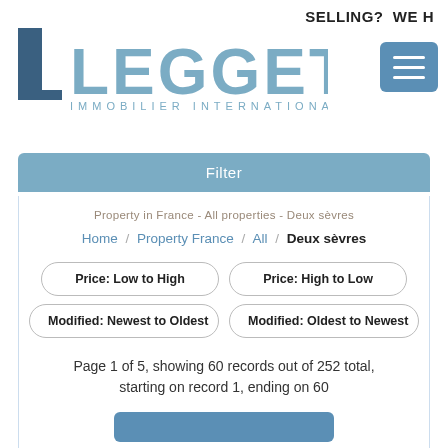SELLING?  WE H
[Figure (logo): Leggett Immobilier International logo with stylized L and text]
Filter
Property in France - All properties - Deux sèvres
Home / Property France / All / Deux sèvres
Price: Low to High
Price: High to Low
Modified: Newest to Oldest
Modified: Oldest to Newest
Page 1 of 5, showing 60 records out of 252 total, starting on record 1, ending on 60